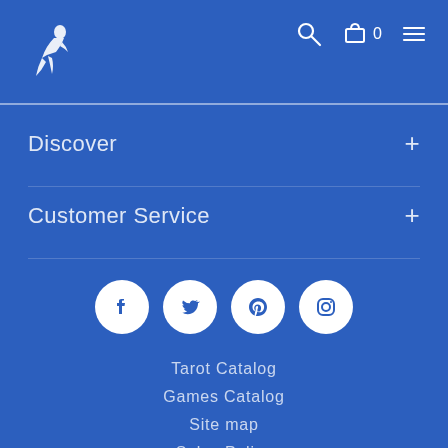Logo | Search | Cart 0 | Menu
Discover +
Customer Service +
[Figure (illustration): Social media icons row: Facebook, Twitter, Pinterest, Instagram — white circles on blue background]
Tarot Catalog
Games Catalog
Site map
Sales Policy